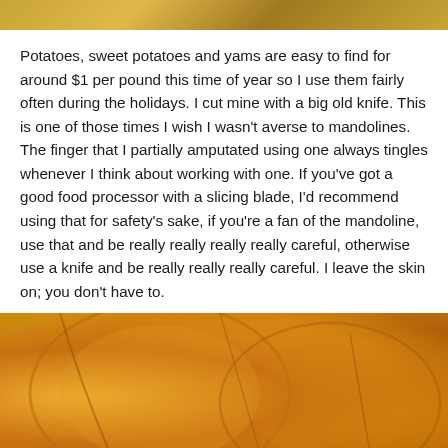[Figure (photo): Top portion of a photo showing sliced potatoes or sweet potatoes, cropped at the top of the page.]
Potatoes, sweet potatoes and yams are easy to find for around $1 per pound this time of year so I use them fairly often during the holidays. I cut mine with a big old knife. This is one of those times I wish I wasn't averse to mandolines. The finger that I partially amputated using one always tingles whenever I think about working with one. If you've got a good food processor with a slicing blade, I'd recommend using that for safety's sake, if you're a fan of the mandoline, use that and be really really really really careful, otherwise use a knife and be really really really careful. I leave the skin on; you don't have to.
[Figure (photo): Close-up photo of sliced sweet potatoes showing their orange flesh and tan skin, cut into rounds.]